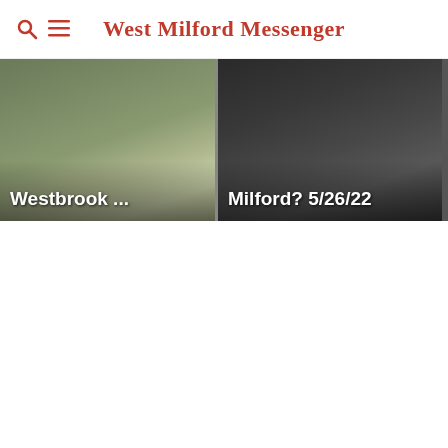West Milford Messenger
[Figure (photo): Two thumbnail images side by side: left shows a suburban building labeled 'Westbrook ...' and right shows a building in black and white labeled 'Milford? 5/26/22']